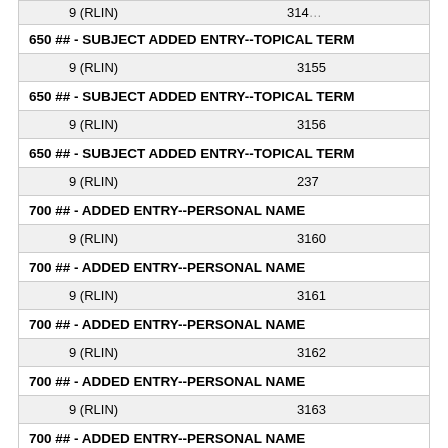| 9 (RLIN) | 3154 (partial top) |
| 650 ## - SUBJECT ADDED ENTRY--TOPICAL TERM |  |
| 9 (RLIN) | 3155 |
| 650 ## - SUBJECT ADDED ENTRY--TOPICAL TERM |  |
| 9 (RLIN) | 3156 |
| 650 ## - SUBJECT ADDED ENTRY--TOPICAL TERM |  |
| 9 (RLIN) | 237 |
| 700 ## - ADDED ENTRY--PERSONAL NAME |  |
| 9 (RLIN) | 3160 |
| 700 ## - ADDED ENTRY--PERSONAL NAME |  |
| 9 (RLIN) | 3161 |
| 700 ## - ADDED ENTRY--PERSONAL NAME |  |
| 9 (RLIN) | 3162 |
| 700 ## - ADDED ENTRY--PERSONAL NAME |  |
| 9 (RLIN) | 3163 |
| 700 ## - ADDED ENTRY--PERSONAL NAME |  |
| 9 (RLIN) | 3164 |